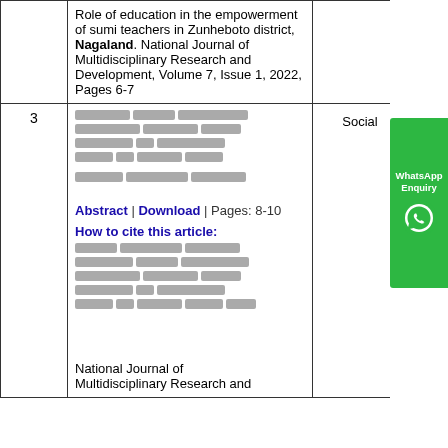| # | Article | Type | Country |
| --- | --- | --- | --- |
|  | Role of education in the empowerment of sumi teachers in Zunheboto district, Nagaland. National Journal of Multidisciplinary Research and Development, Volume 7, Issue 1, 2022, Pages 6-7 |  |  |
| 3 | [Hindi text] Abstract | Download | Pages: 8-10
How to cite this article:
[Hindi text]
National Journal of Multidisciplinary Research and... | Social | India |
[Figure (other): WhatsApp Enquiry button on right side of page, green background with WhatsApp logo]